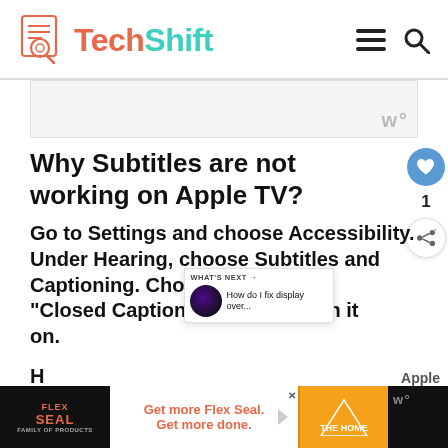TechShift
[Figure (screenshot): Advertisement placeholder area with watermark]
Why Subtitles are not working on Apple TV?
Go to Settings and choose Accessibility. Under Hearing, choose Subtitles and Captioning. Choose "Closed Captions + SDH" to turn it on.
[Figure (screenshot): What's Next panel showing 'How do I fix display over...']
[Figure (screenshot): Bottom advertisement banner: Flex Seal - Get more Flex Seal. Get more done. Home Depot logo.]